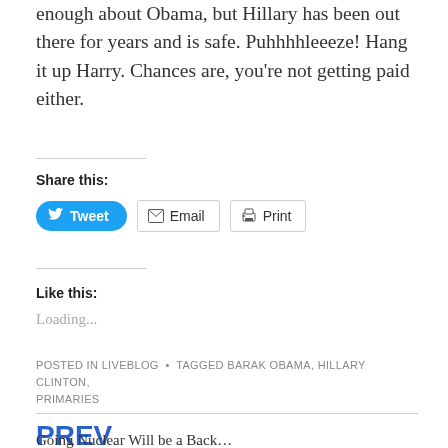enough about Obama, but Hillary has been out there for years and is safe. Puhhhhleeeze! Hang it up Harry. Chances are, you're not getting paid either.
Share this:
[Figure (other): Share buttons: Tweet (blue rounded button), Email (outlined button), Print (outlined button)]
Like this:
Loading...
POSTED IN LIVEBLOG • TAGGED BARAK OBAMA, HILLARY CLINTON, PRIMARIES
PREV